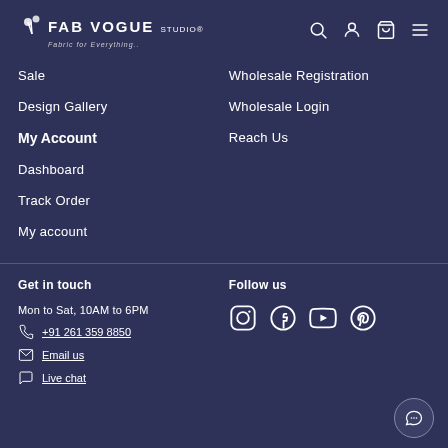FAB VOGUE STUDIO — Fabric for Everything..
Sale
Design Gallery
Wholesale Registration
Wholesale Login
Reach Us
My Account
Dashboard
Track Order
My account
Get in touch
Mon to Sat, 10AM to 6PM
+91 261 359 8850
Email us
Live chat
Follow us
[Figure (other): Social media icons: Instagram, Facebook, YouTube, Pinterest]